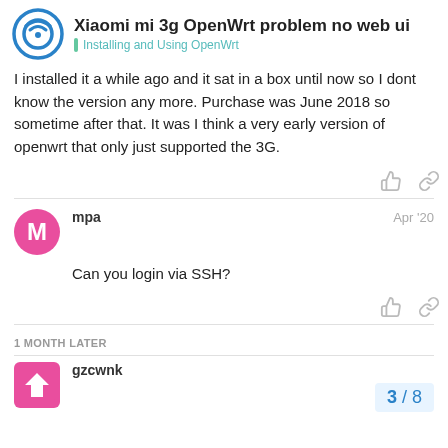Xiaomi mi 3g OpenWrt problem no web ui | Installing and Using OpenWrt
I installed it a while ago and it sat in a box until now so I dont know the version any more. Purchase was June 2018 so sometime after that. It was I think a very early version of openwrt that only just supported the 3G.
mpa — Apr '20
Can you login via SSH?
1 MONTH LATER
gzcwnk
3 / 8